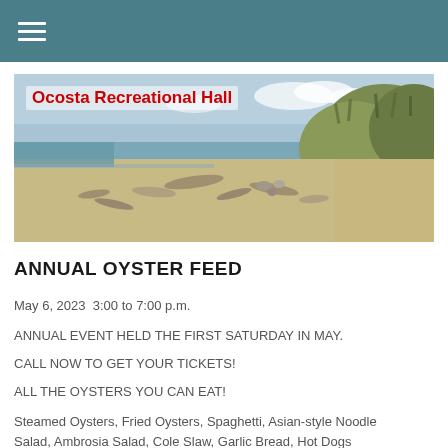[Figure (photo): Beach scene with sandy shore, driftwood, and grassy dunes under a partly cloudy sky. Overlay text reads 'Ocosta Recreational Hall' in red bold font.]
ANNUAL OYSTER FEED
May 6, 2023  3:00 to 7:00 p.m.
ANNUAL EVENT HELD THE FIRST SATURDAY IN MAY.
CALL NOW TO GET YOUR TICKETS!
ALL THE OYSTERS YOU CAN EAT!
Steamed Oysters, Fried Oysters, Spaghetti, Asian-style Noodle Salad, Ambrosia Salad, Cole Slaw, Garlic Bread, Hot Dogs